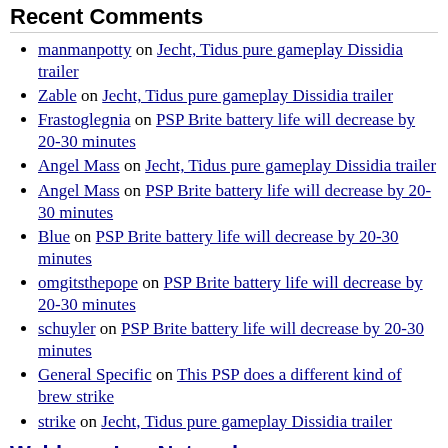Recent Comments
manmanpotty on Jecht, Tidus pure gameplay Dissidia trailer
Zable on Jecht, Tidus pure gameplay Dissidia trailer
Frastoglegnia on PSP Brite battery life will decrease by 20-30 minutes
Angel Mass on Jecht, Tidus pure gameplay Dissidia trailer
Angel Mass on PSP Brite battery life will decrease by 20-30 minutes
Blue on PSP Brite battery life will decrease by 20-30 minutes
omgitsthepope on PSP Brite battery life will decrease by 20-30 minutes
schuyler on PSP Brite battery life will decrease by 20-30 minutes
General Specific on This PSP does a different kind of brew strike
strike on Jecht, Tidus pure gameplay Dissidia trailer
Weblogs, Inc. Network
Autos
Autoblog
AutoblogGreen
Autoblog Spanish
Autoblog Chinese